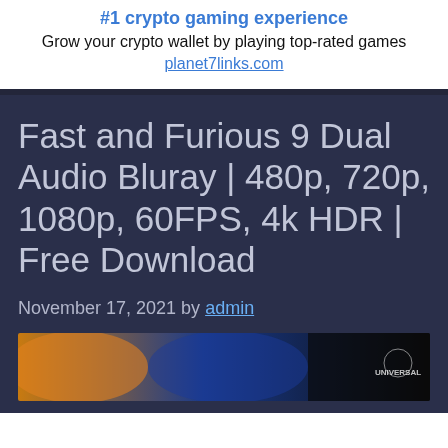#1 crypto gaming experience
Grow your crypto wallet by playing top-rated games
planet7links.com
Fast and Furious 9 Dual Audio Bluray | 480p, 720p, 1080p, 60FPS, 4k HDR | Free Download
November 17, 2021 by admin
[Figure (photo): Thumbnail image for Fast and Furious 9 movie post, showing characters against an orange and blue background with a Universal logo watermark]